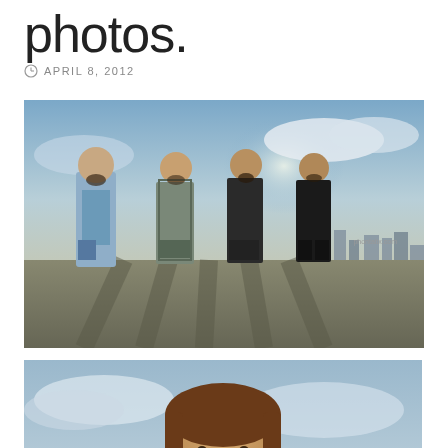photos.
APRIL 8, 2012
[Figure (photo): Four bearded men standing on a rooftop with dramatic shadows and a city skyline in the background. The men are wearing casual shirts. Watermark reads phontatix.com.]
[Figure (photo): Close-up portrait of a smiling man with long hair and a very long, full beard, wearing a light blue shirt, photographed against a cloudy sky.]